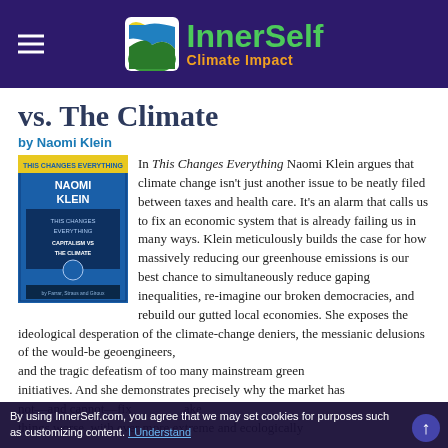InnerSelf Climate Impact
vs. The Climate
by Naomi Klein
[Figure (photo): Book cover of 'This Changes Everything: Capitalism vs The Climate' by Naomi Klein]
In This Changes Everything Naomi Klein argues that climate change isn't just another issue to be neatly filed between taxes and health care. It's an alarm that calls us to fix an economic system that is already failing us in many ways. Klein meticulously builds the case for how massively reducing our greenhouse emissions is our best chance to simultaneously reduce gaping inequalities, re-imagine our broken democracies, and rebuild our gutted local economies. She exposes the ideological desperation of the climate-change deniers, the messianic delusions of the would-be geoengineers, and the tragic defeatism of too many mainstream green initiatives. And she demonstrates precisely why the market has not—and cannot—fix things worse, with ever more extreme and ecologically
By using InnerSelf.com, you agree that we may set cookies for purposes such as customizing content. I Understand